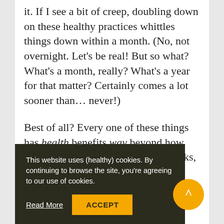it. If I see a bit of creep, doubling down on these healthy practices whittles things down within a month. (No, not overnight. Let's be real! But so what? What's a month, really? What's a year for that matter? Certainly comes a lot sooner than… never!)
Best of all? Every one of these things has health benefits way beyond how your tum looks (funny how that works, right?), so no reason not to try!
This website uses (healthy) cookies. By continuing to browse the site, you're agreeing to our use of cookies.
Read More
ACCEPT
E-certified fitness professional